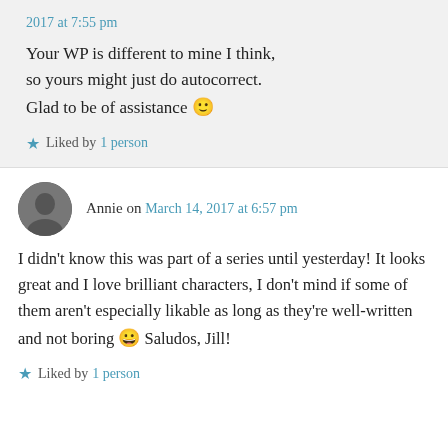2017 at 7:55 pm
Your WP is different to mine I think, so yours might just do autocorrect. Glad to be of assistance 🙂
Liked by 1 person
Annie on March 14, 2017 at 6:57 pm
I didn't know this was part of a series until yesterday! It looks great and I love brilliant characters, I don't mind if some of them aren't especially likable as long as they're well-written and not boring 😀 Saludos, Jill!
Liked by 1 person